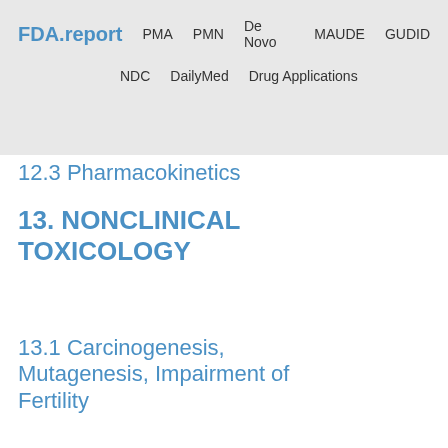FDA.report  PMA  PMN  De Novo  MAUDE  GUDID  NDC  DailyMed  Drug Applications
12.3 Pharmacokinetics
13. NONCLINICAL TOXICOLOGY
13.1 Carcinogenesis, Mutagenesis, Impairment of Fertility
13.2 Animal Toxicology and/or Pharmacology